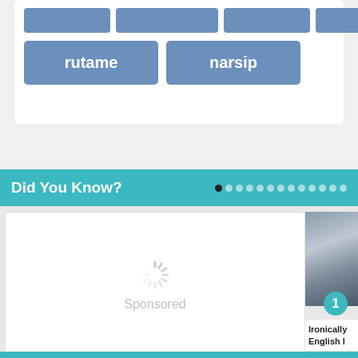[Figure (screenshot): Word buttons in teal/blue: top row partially visible, bottom row shows 'rutame' and 'narsip' as blue pill buttons on white card background]
Did You Know?
[Figure (screenshot): Sponsored ad placeholder with loading spinner and 'Sponsored' label in light grey on white card]
[Figure (photo): Partial photo of person writing, with teal circle badge showing number 1]
Ironically English l